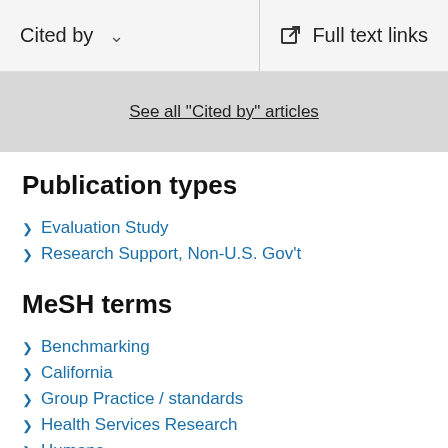Cited by | Full text links
See all "Cited by" articles
Publication types
Evaluation Study
Research Support, Non-U.S. Gov't
MeSH terms
Benchmarking
California
Group Practice / standards
Health Services Research
Humans
Mass Screening / statistics & numerical data